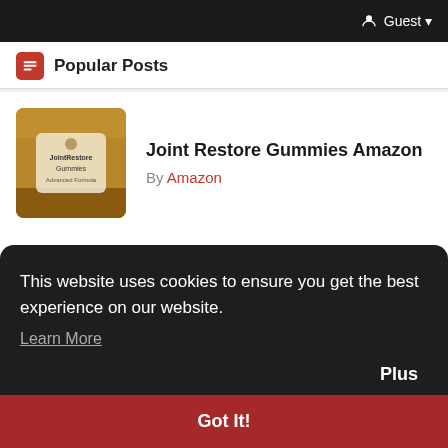Guest
Popular Posts
[Figure (photo): Thumbnail image of Joint Restore Gummies Amazon product]
Joint Restore Gummies Amazon
By Amazon
[Figure (photo): Thumbnail image of Java Burn Amazon product supplement facts label]
Java Burn Amazon
By Amazon
This website uses cookies to ensure you get the best experience on our website.
Learn More
Plus
Got It!